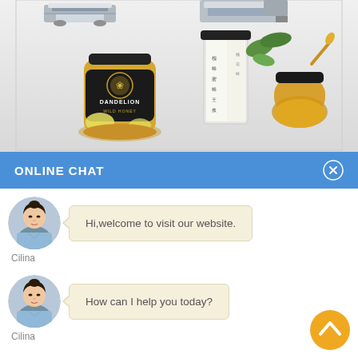[Figure (photo): Product showcase section showing industrial machines at top and honey product jars (Dandelion Wild Honey and Chinese honey products) on a light gray gradient background]
ONLINE CHAT
[Figure (photo): Chat agent avatar - woman in light blue shirt, circular crop, named Cilina]
Hi,welcome to visit our website.
Cilina
[Figure (photo): Chat agent avatar - woman in light blue shirt, circular crop, named Cilina]
How can I help you today?
Cilina